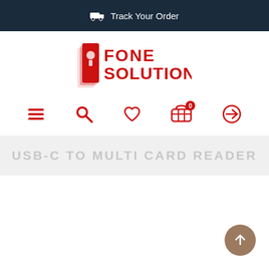Track Your Order
[Figure (logo): Fone Solution logo with red text and stylized book/phone icon]
[Figure (infographic): Navigation icons: hamburger menu, search, heart/wishlist, shopping cart with 0 badge, login arrow]
USB-C TO MULTI CARD READER
[Figure (other): Scroll-to-top button, brown circle with upward arrow]